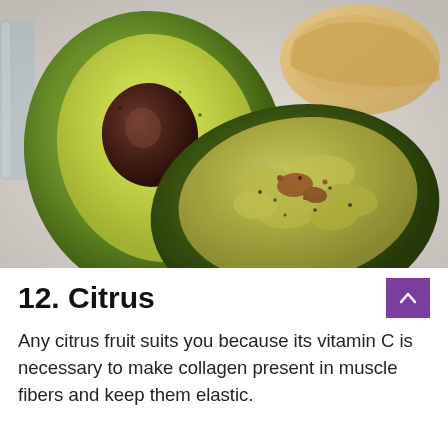[Figure (photo): Photo of sliced avocado halves on a white surface. One half shows the pit, the other is filled with mashed guacamole seasoned with spices. A piece of bread is visible in the background along with a glass jar.]
12. Citrus
Any citrus fruit suits you because its vitamin C is necessary to make collagen present in muscle fibers and keep them elastic.